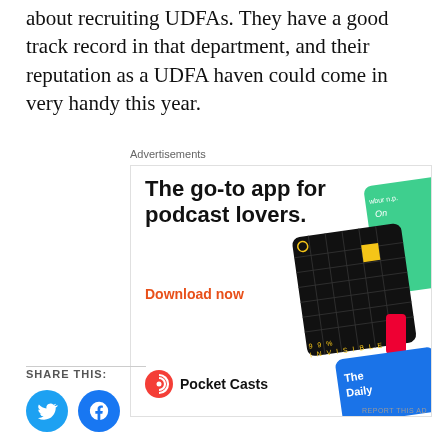about recruiting UDFAs. They have a good track record in that department, and their reputation as a UDFA haven could come in very handy this year.
Advertisements
[Figure (other): Pocket Casts advertisement: The go-to app for podcast lovers. Download now. Shows podcast app cards including 99% Invisible and The Daily.]
SHARE THIS:
[Figure (other): Twitter and Facebook social share buttons]